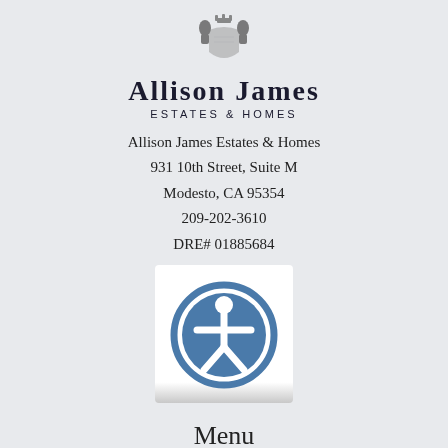[Figure (logo): Allison James Estates & Homes logo with heraldic crest above the brand name]
Allison James Estates & Homes
931 10th Street, Suite M
Modesto, CA 95354
209-202-3610
DRE# 01885684
[Figure (illustration): Accessibility icon: blue circle with white person figure with outstretched arms, on white/grey card background]
Menu
HOME